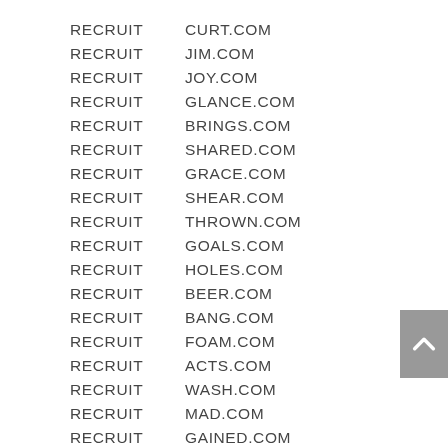RECRUIT  CURT.COM
RECRUIT  JIM.COM
RECRUIT  JOY.COM
RECRUIT  GLANCE.COM
RECRUIT  BRINGS.COM
RECRUIT  SHARED.COM
RECRUIT  GRACE.COM
RECRUIT  SHEAR.COM
RECRUIT  THROWN.COM
RECRUIT  GOALS.COM
RECRUIT  HOLES.COM
RECRUIT  BEER.COM
RECRUIT  BANG.COM
RECRUIT  FOAM.COM
RECRUIT  ACTS.COM
RECRUIT  WASH.COM
RECRUIT  MAD.COM
RECRUIT  GAINED.COM
RECRUIT  HOLMES.COM